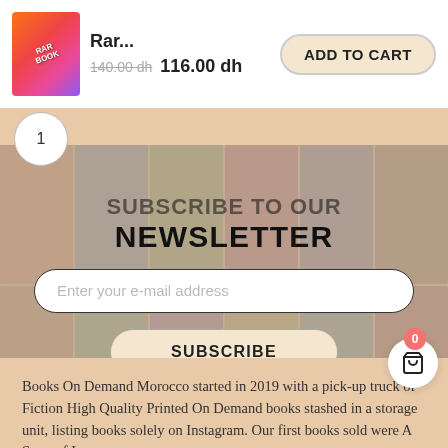[Figure (screenshot): Product thumbnail showing a book cover with colorful diagonal design in orange/pink/purple gradient]
Rar... 140.00 dh 116.00 dh
ADD TO CART
1
SUBSCRIBE TO OUR NEWSLETTER
Enter your e-mail address
SUBSCRIBE
0
Books On Demand Morocco started in 2019 with a pick-up truck of Fiction High Quality Printed On Demand books stashed in a storage unit, listing books solely on Instagram. Our first books sold were A Song of Ice